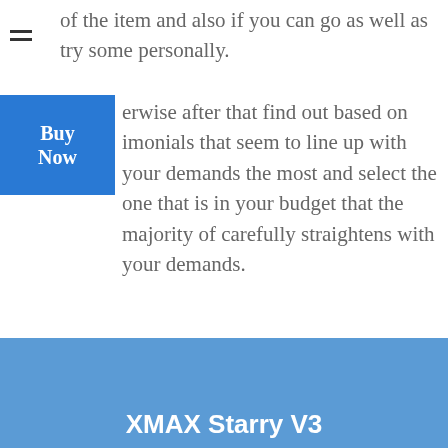of the item and also if you can go as well as try some personally.
erwise after that find out based on imonials that seem to line up with your demands the most and select the one that is in your budget that the majority of carefully straightens with your demands.
[Figure (other): Blue 'Buy Now' button]
| Contents [show] |
| --- |
XMAX Starry V3